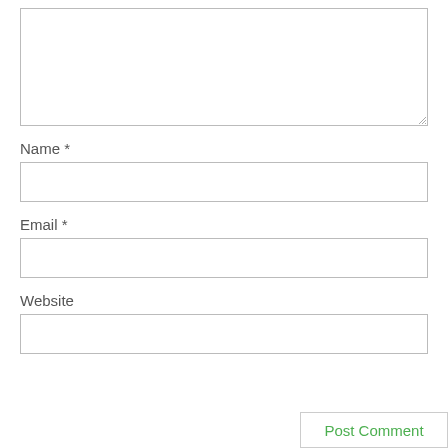[Figure (screenshot): A textarea form field (large empty comment box) with a resize handle in bottom-right corner]
Name *
[Figure (screenshot): A single-line text input box for Name]
Email *
[Figure (screenshot): A single-line text input box for Email]
Website
[Figure (screenshot): A single-line text input box for Website]
Post Comment